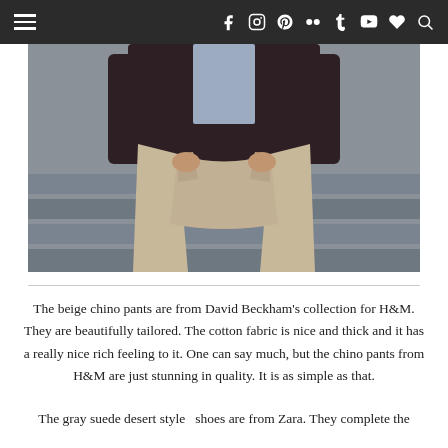Navigation bar with hamburger menu and social icons: f (Facebook), Instagram, Pinterest, Flickr, Tumblr, YouTube, heart, search
[Figure (photo): Close-up photo of a person from waist down wearing beige chino pants and a dark maroon jacket, standing on stone steps outdoors]
The beige chino pants are from David Beckham's collection for H&M. They are beautifully tailored. The cotton fabric is nice and thick and it has a really nice rich feeling to it. One can say much, but the chino pants from H&M are just stunning in quality. It is as simple as that.
The gray suede desert style  shoes are from Zara. They complete the